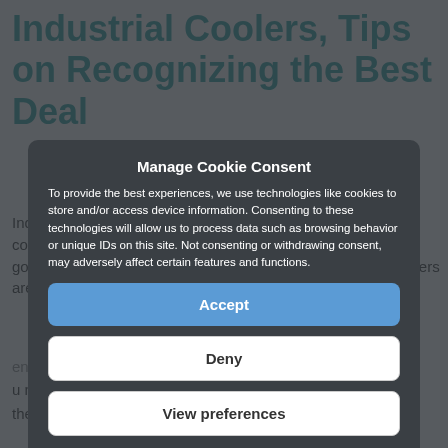Industrial Coolers, Tips on Recognizing the Best Deal
Industrial coolers today are economical and efficient signs of cooling. They are not only used in industrial applications but good for domestic use as well. Industrial coolers like tent coolers are extremely useful for outdoor and indoor use. ,
hen you're about to buy an industrial c u need to realize this isn't a small purc ther is it a small machine. You may be
Manage Cookie Consent
To provide the best experiences, we use technologies like cookies to store and/or access device information. Consenting to these technologies will allow us to process data such as browsing behavior or unique IDs on this site. Not consenting or withdrawing consent, may adversely affect certain features and functions.
Accept
Deny
View preferences
Privacy Policy